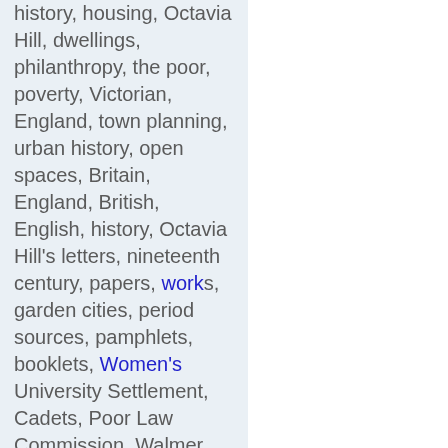history, housing, Octavia Hill, dwellings, philanthropy, the poor, poverty, Victorian, England, town planning, urban history, open spaces, Britain, England, British, English, history, Octavia Hill's letters, nineteenth century, papers, works, garden cities, period sources, pamphlets, booklets, Women's University Settlement, Cadets, Poor Law Commission, Walmer Street Industrial Experiment, Gertrude Hill, Gertrude Lewes, inscribed, inscriptions,